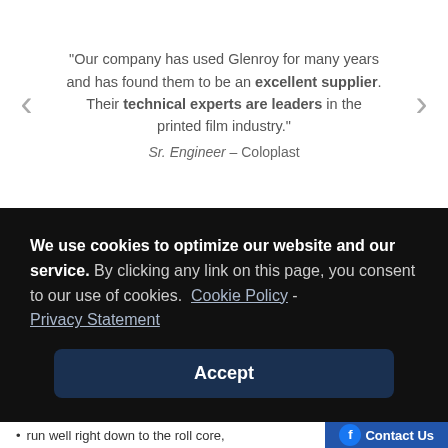"Our company has used Glenroy for many years and has found them to be an excellent supplier. Their technical experts are leaders in the printed film industry." Sr. Engineer – Coloplast
We use cookies to optimize our website and our service. By clicking any link on this page, you consent to our use of cookies. Cookie Policy - Privacy Statement
Accept
run well right down to the roll core,